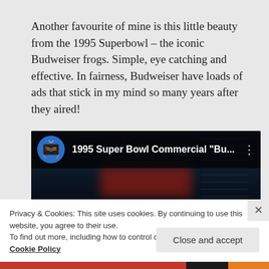Another favourite of mine is this little beauty from the 1995 Superbowl – the iconic Budweiser frogs. Simple, eye catching and effective. In fairness, Budweiser have loads of ads that stick in my mind so many years after they aired!
[Figure (screenshot): YouTube video thumbnail showing '1995 Super Bowl Commercial "Bu..."' with a dark night scene background, TV channel icon, and video title bar]
Privacy & Cookies: This site uses cookies. By continuing to use this website, you agree to their use.
To find out more, including how to control cookies, see here:
Cookie Policy